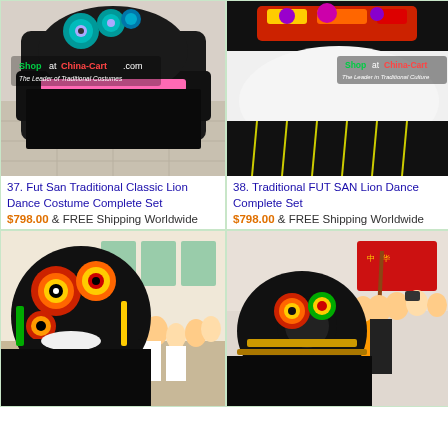[Figure (photo): Fut San Traditional Classic Lion Dance Costume - black lion head with colorful decorations on tiled floor, with Shop at China-Cart.com watermark]
[Figure (photo): Traditional FUT SAN Lion Dance costume - close-up of black and white lion head, with Shop at China-Cart.com watermark]
37. Fut San Traditional Classic Lion Dance Costume Complete Set
$798.00 & FREE Shipping Worldwide
38. Traditional FUT SAN Lion Dance Complete Set
$798.00 & FREE Shipping Worldwide
[Figure (photo): Colorful lion dance costume being performed inside a hall with audience watching, black lion with colorful circular decorations]
[Figure (photo): Lion dance performance outdoors with performers in black costumes with gold decorations, crowd watching]